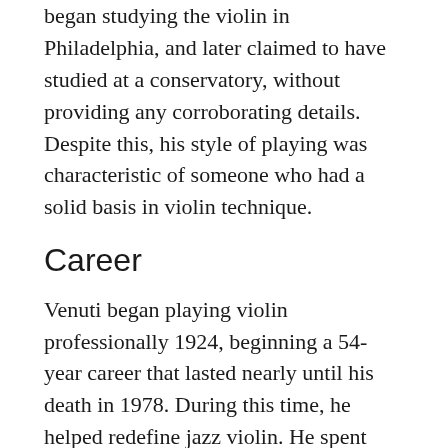began studying the violin in Philadelphia, and later claimed to have studied at a conservatory, without providing any corroborating details. Despite this, his style of playing was characteristic of someone who had a solid basis in violin technique.
Career
Venuti began playing violin professionally 1924, beginning a 54-year career that lasted nearly until his death in 1978. During this time, he helped redefine jazz violin. He spent time in the early 1900s playing in the James Campbell School Orchestra in the violin section. It was there that he first met and befriended Salvatore Massaro, who was also playing in the same section. During this time the pair was experimenting with jazz and blues in addition to classical playing.[4]
In 1924 he moved to Detroit to join Jean Goldkette's band, and began playing with the Book Cadillac Hotel Orchestra,